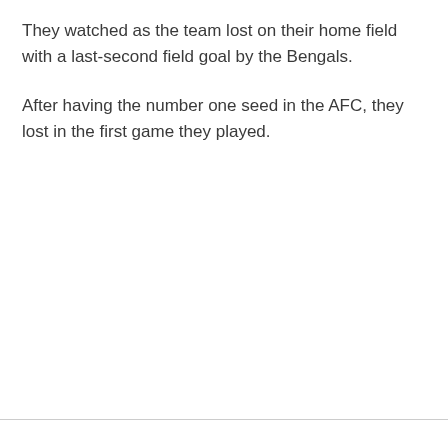They watched as the team lost on their home field with a last-second field goal by the Bengals.
After having the number one seed in the AFC, they lost in the first game they played.